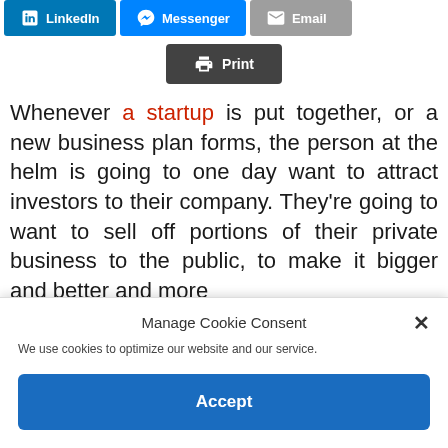[Figure (other): Social share buttons: LinkedIn (blue), Messenger (blue), Email (gray)]
[Figure (other): Print button (dark gray) with printer icon]
Whenever a startup is put together, or a new business plan forms, the person at the helm is going to one day want to attract investors to their company. They're going to want to sell off portions of their private business to the public, to make it bigger and better and more
Manage Cookie Consent
We use cookies to optimize our website and our service.
Accept